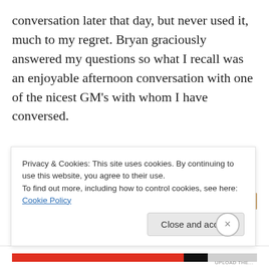conversation later that day, but never used it, much to my regret. Bryan graciously answered my questions so what I recall was an enjoyable afternoon conversation with one of the nicest GM's with whom I have conversed.
[Figure (other): Advertisements banner with colorful decorative image strip labeled 'Advertisements']
I have replayed many Nadjorf games since moving on to playing other openings, but have not devoted time studying the Nadjorf system with the intensity shown
Privacy & Cookies: This site uses cookies. By continuing to use this website, you agree to their use.
To find out more, including how to control cookies, see here: Cookie Policy
Close and accept